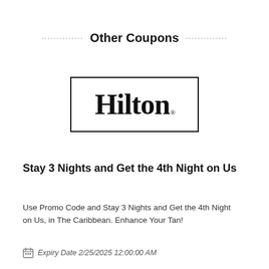Other Coupons
[Figure (logo): Hilton logo: bold serif text 'Hilton' inside a rectangular border]
Stay 3 Nights and Get the 4th Night on Us
Use Promo Code and Stay 3 Nights and Get the 4th Night on Us, in The Caribbean. Enhance Your Tan!
Expiry Date 2/25/2025 12:00:00 AM